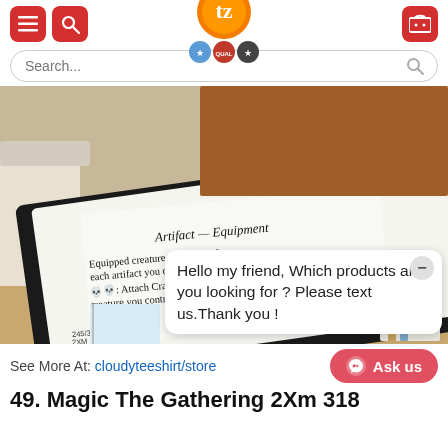[Figure (screenshot): E-commerce website header with red hamburger menu button, red search button, orange circular logo with 'tz' text and quality badges, and red shopping cart button]
[Figure (screenshot): Search bar with 'Search...' placeholder text and search icon]
[Figure (photo): Product photo of a Magic The Gathering blanket showing 'Artifact - Equipment' card text: 'Equipped creature gets +1/+0 for each artifact you control. Skull Skull: Attach Cranial Plating to target creature you control. Equip 1' with set number 245/332 U 2XM EN ADAM R, displayed on a couch with books. Chat bubble overlay reads: 'Hello my friend, Which products are you looking for ? Please text us.Thank you !']
See More At: cloudyteeshirt/store
[Figure (other): Pink 'Ask us' button with Messenger icon]
49. Magic The Gathering 2Xm 318